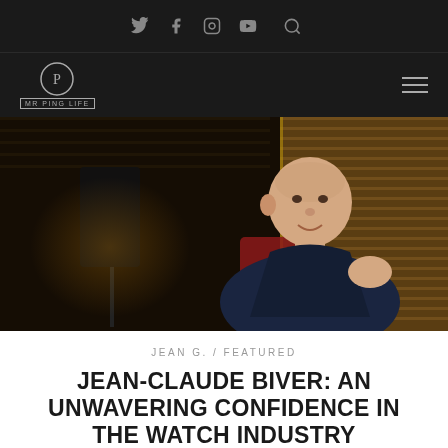Social icons: Twitter, Facebook, Instagram, YouTube, Search
MR PING LIFE logo and hamburger menu
[Figure (photo): Jean-Claude Biver seated in a red chair, wearing a dark navy blazer, in a warmly lit office with golden venetian blinds and a black floor lamp in the background. He is a bald older man gesturing with his hand.]
JEAN G. / FEATURED
JEAN-CLAUDE BIVER: AN UNWAVERING CONFIDENCE IN THE WATCH INDUSTRY